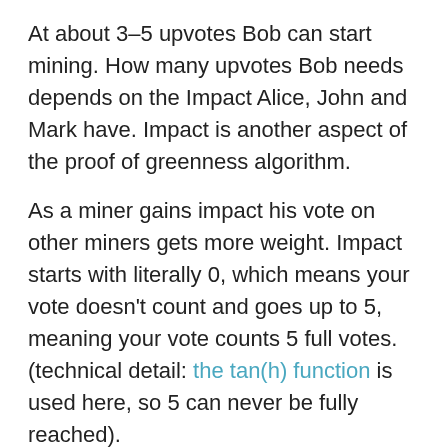At about 3–5 upvotes Bob can start mining. How many upvotes Bob needs depends on the Impact Alice, John and Mark have. Impact is another aspect of the proof of greenness algorithm.
As a miner gains impact his vote on other miners gets more weight. Impact starts with literally 0, which means your vote doesn't count and goes up to 5, meaning your vote counts 5 full votes. (technical detail: the tan(h) function is used here, so 5 can never be fully reached).
bitcoinClean wants people to talk to each other. It requires miners to look at the way other miners operate, and then make an educated decision if they trust this miner to use renewable energy. bitcoinClean has no central authority. No central authority. So it...